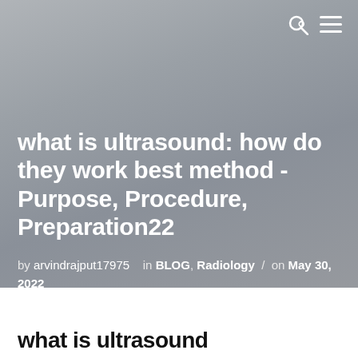search menu
what is ultrasound: how do they work best method -Purpose, Procedure, Preparation22
by arvindrajput17975   in BLOG, Radiology   on May 30, 2022
what is ultrasound